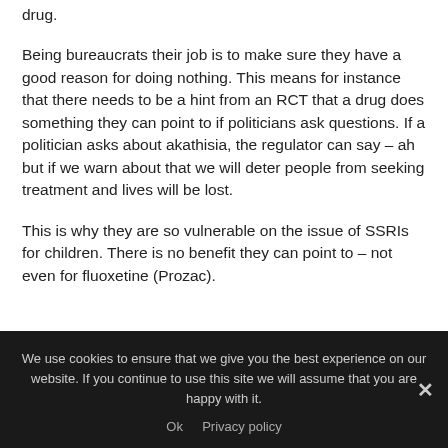drug.
Being bureaucrats their job is to make sure they have a good reason for doing nothing.  This means for instance that there needs to be a hint from an RCT that a drug does something they can point to if politicians ask questions.  If a politician asks about akathisia, the regulator can say – ah but if we warn about that we will deter people from seeking treatment and lives will be lost.
This is why they are so vulnerable on the issue of SSRIs for children.  There is no benefit they can point to – not even for fluoxetine (Prozac).
We use cookies to ensure that we give you the best experience on our website. If you continue to use this site we will assume that you are happy with it.
Ok   Privacy policy